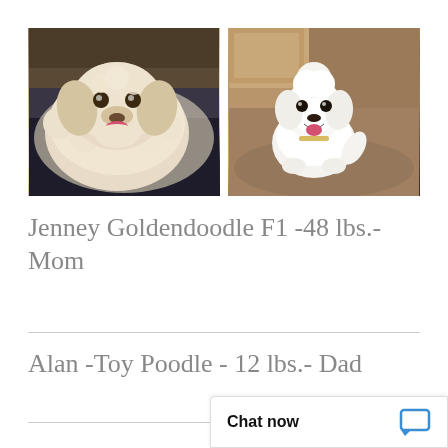[Figure (photo): Two side-by-side photos of dogs. Left: a fluffy cream/white Goldendoodle lying on a dark surface, smiling with tongue out. Right: a small white Toy Poodle on a brown/gray couch, smiling with tongue out.]
Jenney Goldendoodle F1 -48 lbs.- Mom
Alan -Toy Poodle - 12 lbs.- Dad
Chat now